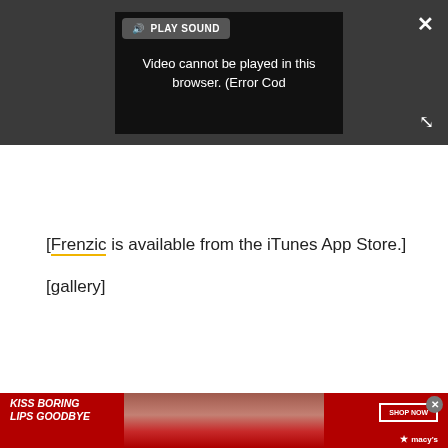[Figure (screenshot): Video player showing error: 'Video cannot be played in this browser. (Error Cod' with PLAY SOUND button, close X button, and expand icon on dark gray background]
[Frenzic is available from the iTunes App Store.]
[gallery]
[Figure (photo): Macy's advertisement banner with red background, woman's face with red lips, text 'KISS BORING LIPS GOODBYE', 'SHOP NOW' button, and Macy's star logo]